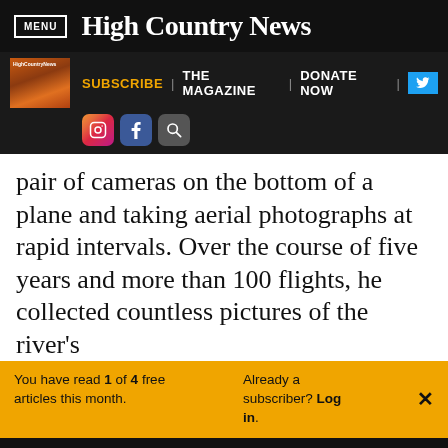MENU | High Country News
[Figure (screenshot): High Country News website navigation bar with magazine thumbnail, SUBSCRIBE, THE MAGAZINE, DONATE NOW links, Twitter button, Instagram, Facebook, and search icons]
pair of cameras on the bottom of a plane and taking aerial photographs at rapid intervals. Over the course of five years and more than 100 flights, he collected countless pictures of the river's
You have read 1 of 4 free articles this month. Already a subscriber? Log in. ×
Support independent journalism. Subscribe